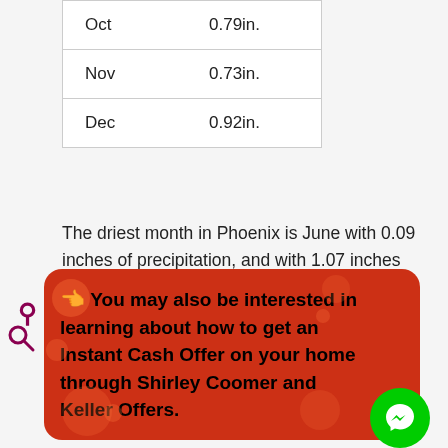| Oct | 0.79in. |
| Nov | 0.73in. |
| Dec | 0.92in. |
The driest month in Phoenix is June with 0.09 inches of precipitation, and with 1.07 inches March is the wettest month.
[Figure (infographic): Orange/red rounded rectangle advertisement banner with bokeh dot background. Thumbs-up icon followed by bold black text: 'You may also be interested in learning about how to get an Instant Cash Offer on your home through Shirley Coomer and Keller Offers.' A green circle with a white Messenger lightning-bolt icon appears at the lower right. A purple search/magnifying glass icon appears to the left of the banner.]